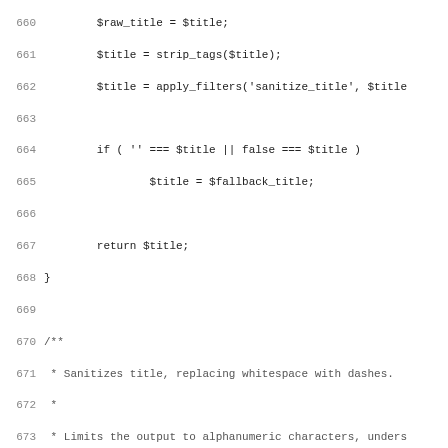Source code listing lines 660-691, PHP functions including sanitize_title_with_dashes